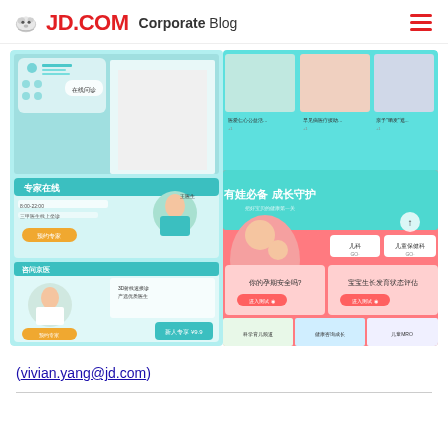JD.COM Corporate Blog
[Figure (screenshot): Screenshot of JD.COM health/medical app interface showing online doctor consultation, appointment booking, children's health services, and medical content in Chinese]
(vivian.yang@jd.com)